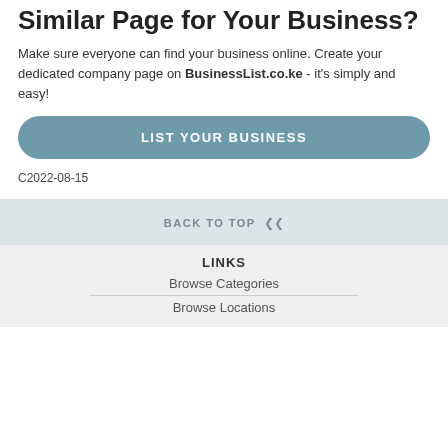Similar Page for Your Business?
Make sure everyone can find your business online. Create your dedicated company page on BusinessList.co.ke - it's simply and easy!
LIST YOUR BUSINESS
C2022-08-15
BACK TO TOP
LINKS
Browse Categories
Browse Locations